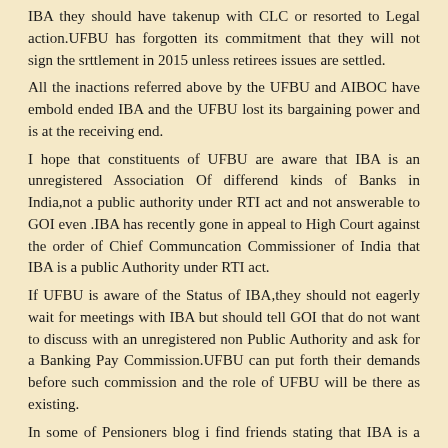IBA they should have takenup with CLC or resorted to Legal action.UFBU has forgotten its commitment that they will not sign the srttlement in 2015 unless retirees issues are settled.
All the inactions referred above by the UFBU and AIBOC have embold ended IBA and the UFBU lost its bargaining power and is at the receiving end.
I hope that constituents of UFBU are aware that IBA is an unregistered Association Of differend kinds of Banks in India,not a public authority under RTI act and not answerable to GOI even .IBA has recently gone in appeal to High Court against the order of Chief Communcation Commissioner of India that IBA is a public Authority under RTI act.
If UFBU is aware of the Status of IBA,they should not eagerly wait for meetings with IBA but should tell GOI that do not want to discuss with an unregistered non Public Authority and ask for a Banking Pay Commission.UFBU can put forth their demands before such commission and the role of UFBU will be there as existing.
In some of Pensioners blog i find friends stating that IBA is a govt agency.
Of late AIBOC has gone to court against recent merger of 3 PSB.
They are not corcerned with decent salaries of serving staff who